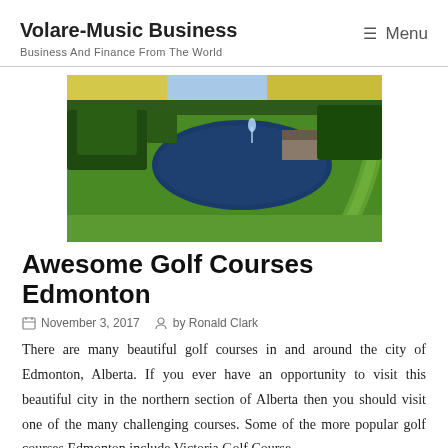Volare-Music Business
Business And Finance From The World
[Figure (photo): Aerial view of a golf course in Edmonton showing green fairways, a large pond with a fountain, surrounding trees, and yellow fields in the background.]
Awesome Golf Courses Edmonton
November 3, 2017   by Ronald Clark
There are many beautiful golf courses in and around the city of Edmonton, Alberta. If you ever have an opportunity to visit this beautiful city in the northern section of Alberta then you should visit one of the many challenging courses. Some of the more popular golf courses Edmonton include Victoria Golf Course